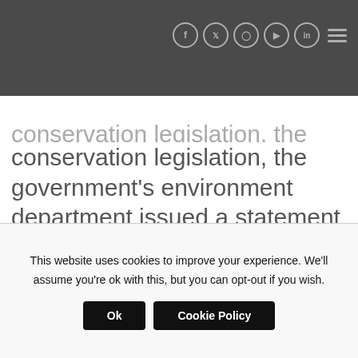Social media icons and hamburger menu
conservation legislation, the government's environment department issued a statement to emphasise that that game breeders would still have to comply with the National Environmental Management Biodiversity Act and regulations concerning threatened or protected species.
This website uses cookies to improve your experience. We'll assume you're ok with this, but you can opt-out if you wish.
Ok  Cookie Policy